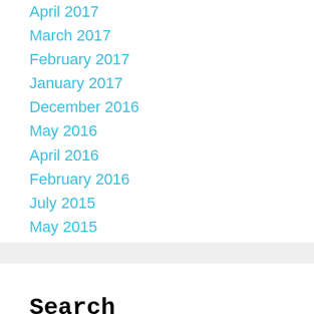April 2017
March 2017
February 2017
January 2017
December 2016
May 2016
April 2016
February 2016
July 2015
May 2015
Search LivingTheIndie